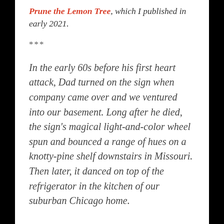Prune the Lemon Tree, which I published in early 2021.
***
In the early 60s before his first heart attack, Dad turned on the sign when company came over and we ventured into our basement. Long after he died, the sign's magical light-and-color wheel spun and bounced a range of hues on a knotty-pine shelf downstairs in Missouri. Then later, it danced on top of the refrigerator in the kitchen of our suburban Chicago home.